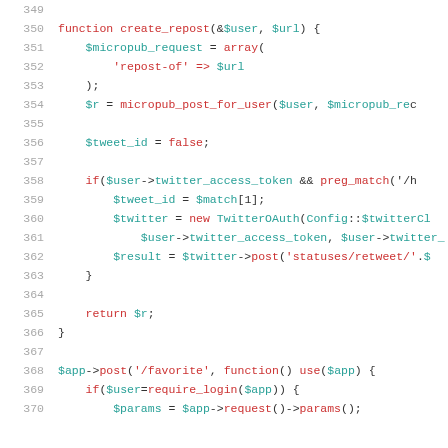Code listing lines 349-370, PHP source code showing create_repost function and $app->post('/favorite') route handler